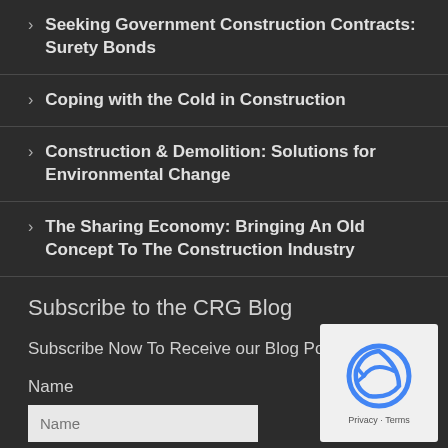Seeking Government Construction Contracts: Surety Bonds
Coping with the Cold in Construction
Construction & Demolition: Solutions for Environmental Change
The Sharing Economy: Bringing An Old Concept To The Construction Industry
Subscribe to the CRG Blog
Subscribe Now To Receive our Blog Posts by Email
Name